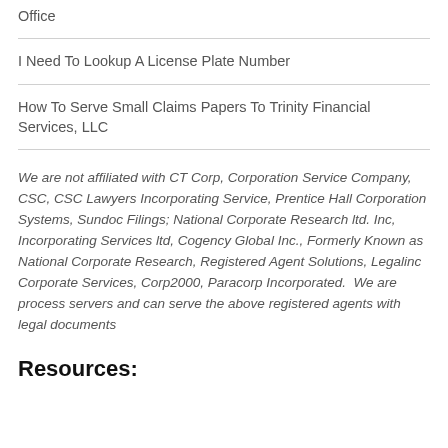Office
I Need To Lookup A License Plate Number
How To Serve Small Claims Papers To Trinity Financial Services, LLC
We are not affiliated with CT Corp, Corporation Service Company, CSC, CSC Lawyers Incorporating Service, Prentice Hall Corporation Systems, Sundoc Filings; National Corporate Research ltd. Inc, Incorporating Services ltd, Cogency Global Inc., Formerly Known as National Corporate Research, Registered Agent Solutions, Legalinc Corporate Services, Corp2000, Paracorp Incorporated.  We are process servers and can serve the above registered agents with legal documents
Resources: